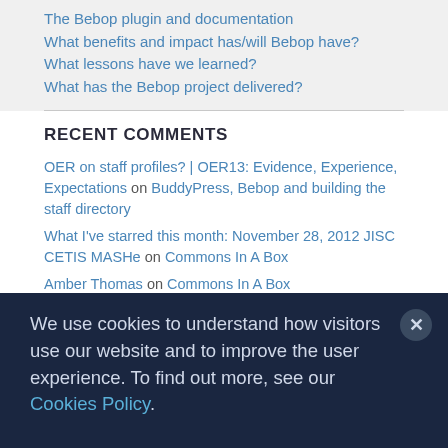The Bebop plugin and documentation
What benefits and impact has/will Bebop have?
What lessons have we learned?
What has the Bebop project delivered?
RECENT COMMENTS
OER on staff profiles? | OER13: Evidence, Experience, Expectations on BuddyPress, Bebop and building the staff directory
What I've starred this month: November 28, 2012 JISC CETIS MASHe on Commons In A Box
Amber Thomas on Commons In A Box
We use cookies to understand how visitors use our website and to improve the user experience. To find out more, see our Cookies Policy.